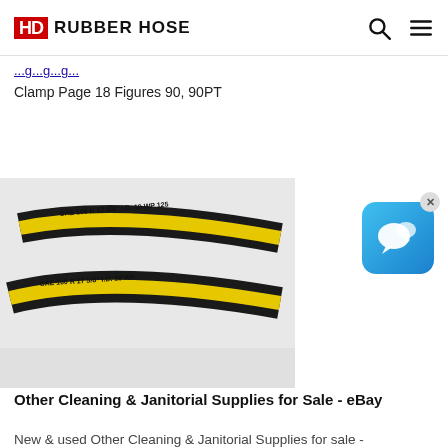HD RUBBER HOSE
Clamp Page 18 Figures 90, 90PT
[Figure (photo): Two black rubber hoses with yellow text markings reading SAE 100 R17 5/8 I.D. 10 WP 125 on a white background.]
[Figure (other): Blue chat widget icon with speech bubble, with an X close button.]
Other Cleaning & Janitorial Supplies for Sale - eBay
New & used Other Cleaning & Janitorial Supplies for sale - Free shipping on many items - Browse janitorial supplies,